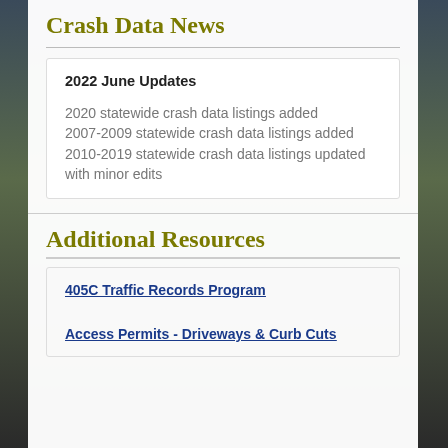Crash Data News
2022 June Updates
2020 statewide crash data listings added
2007-2009 statewide crash data listings added
2010-2019 statewide crash data listings updated with minor edits
Additional Resources
405C Traffic Records Program
Access Permits - Driveways & Curb Cuts